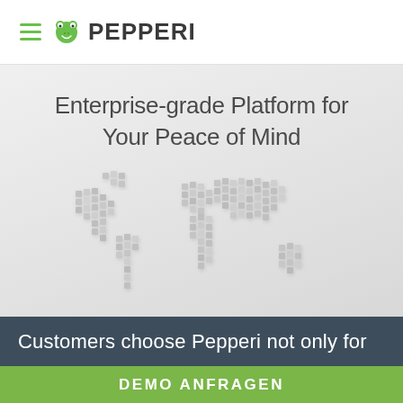PEPPERI
Enterprise-grade Platform for Your Peace of Mind
[Figure (illustration): 3D cube blocks arranged in the shape of a world map, rendered in grayscale on a light grey gradient background]
Customers choose Pepperi not only for
DEMO ANFRAGEN